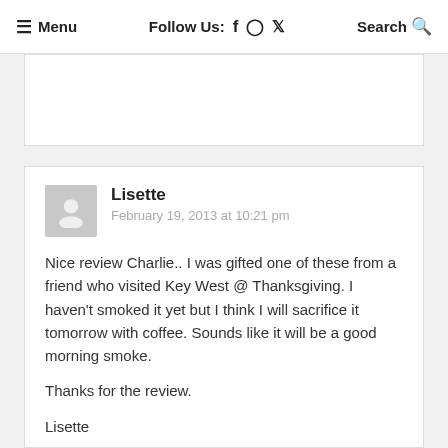≡ Menu   Follow Us: f ⊙ 𝕏   Search 🔍
Reply
Lisette
February 19, 2013 at 10:21 pm

Nice review Charlie.. I was gifted one of these from a friend who visited Key West @ Thanksgiving. I haven't smoked it yet but I think I will sacrifice it tomorrow with coffee. Sounds like it will be a good morning smoke.

Thanks for the review.

Lisette